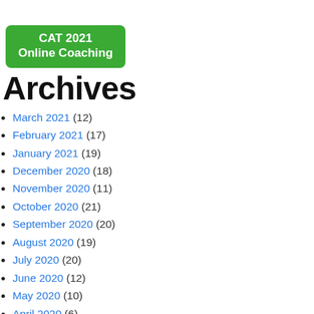[Figure (other): Green rounded rectangle button with text 'CAT 2021 Online Coaching']
Archives
March 2021 (12)
February 2021 (17)
January 2021 (19)
December 2020 (18)
November 2020 (11)
October 2020 (21)
September 2020 (20)
August 2020 (19)
July 2020 (20)
June 2020 (12)
May 2020 (10)
April 2020 (6)
March 2020 (2)